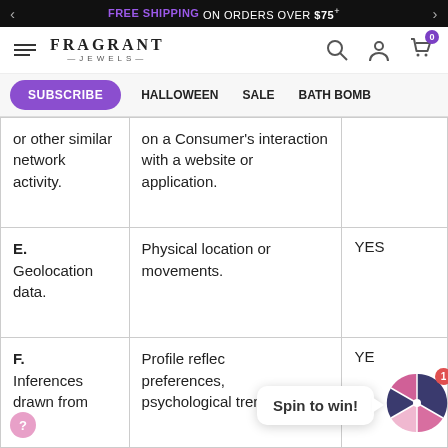FREE SHIPPING ON ORDERS OVER $75+
[Figure (logo): Fragrant Jewels logo with hamburger menu icon]
SUBSCRIBE  HALLOWEEN  SALE  BATH BOMB
| or other similar network activity. | on a Consumer's interaction with a website or application. |  |
| E. Geolocation data. | Physical location or movements. | YES |
| F. Inferences drawn from | Profile reflecting preferences, psychological trends, | YE... |
[Figure (infographic): Spin to win wheel widget with speech bubble saying 'Spin to win!' and a colorful pie wheel with a notification badge showing 1]